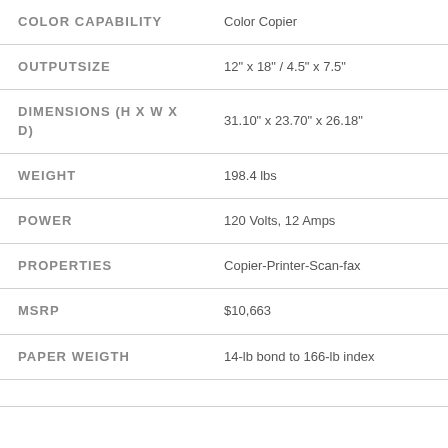| Attribute | Value |
| --- | --- |
| COLOR CAPABILITY | Color Copier |
| OUTPUTSIZE | 12" x 18" / 4.5" x 7.5" |
| DIMENSIONS (H X W X D) | 31.10" x 23.70" x 26.18" |
| WEIGHT | 198.4 lbs |
| POWER | 120 Volts, 12 Amps |
| PROPERTIES | Copier-Printer-Scan-fax |
| MSRP | $10,663 |
| PAPER WEIGTH | 14-lb bond to 166-lb index |